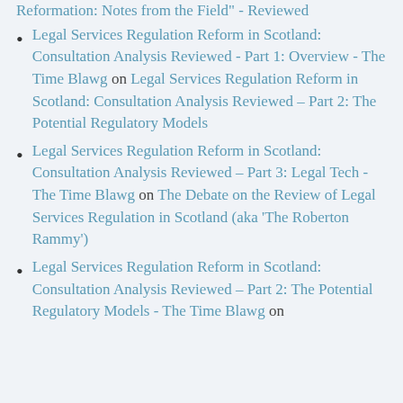Legal Services Regulation Reform in Scotland: Consultation Analysis Reviewed - Part 1: Overview - The Time Blawg on Legal Services Regulation Reform in Scotland: Consultation Analysis Reviewed – Part 2: The Potential Regulatory Models
Legal Services Regulation Reform in Scotland: Consultation Analysis Reviewed – Part 3: Legal Tech - The Time Blawg on The Debate on the Review of Legal Services Regulation in Scotland (aka 'The Roberton Rammy')
Legal Services Regulation Reform in Scotland: Consultation Analysis Reviewed – Part 2: The Potential Regulatory Models - The Time Blawg on